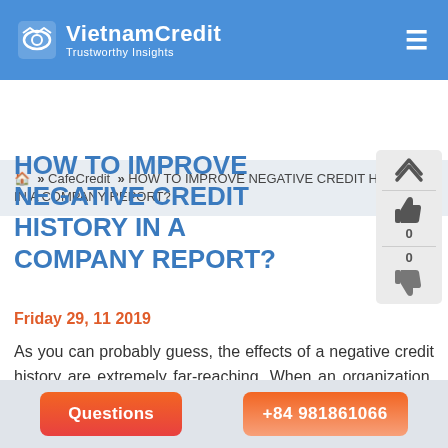VietnamCredit — Trustworthy Insights
🏠 » CafeCredit » HOW TO IMPROVE NEGATIVE CREDIT HISTORY IN A COMPANY REPORT?
HOW TO IMPROVE NEGATIVE CREDIT HISTORY IN A COMPANY REPORT?
Friday 29, 11 2019
As you can probably guess, the effects of a negative credit history are extremely far-reaching. When an organization, especially a company, has a negative credit history, it can keep that company from borrowing money for a new project, from mobilizin
Questions | +84 981861066